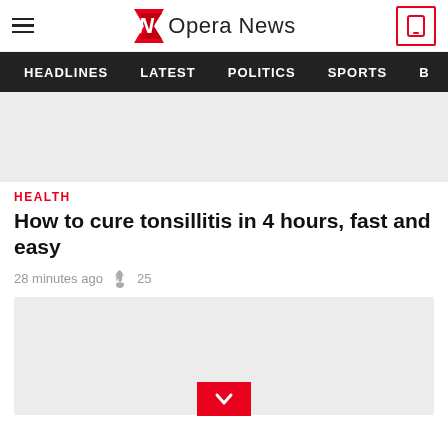Opera News
HEADLINES   LATEST   POLITICS   SPORTS   B
[Figure (photo): Gray placeholder image at top of article]
HEALTH
How to cure tonsillitis in 4 hours, fast and easy
28 minutes ago  🔥 25
[Figure (photo): Gray placeholder image below article meta with red chevron/down arrow button]